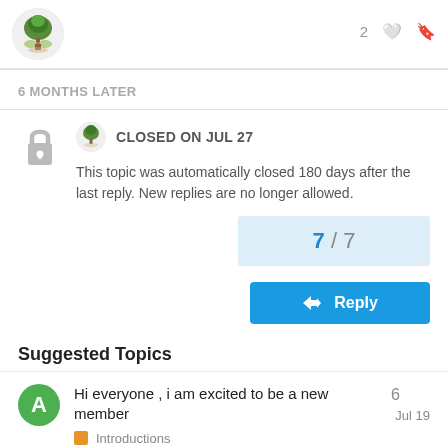[Figure (logo): Green tree logo circle at top left]
6 MONTHS LATER
[Figure (illustration): Lock icon (closed/locked topic)]
CLOSED ON JUL 27
This topic was automatically closed 180 days after the last reply. New replies are no longer allowed.
7 / 7
Reply
Suggested Topics
Hi everyone , i am excited to be a new member
Introductions
Jul 19
6